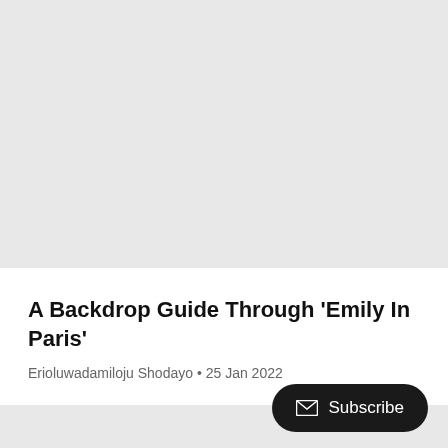[Figure (other): Light gray placeholder image area at the top of the page]
A Backdrop Guide Through 'Emily In Paris'
Erioluwadamiloju Shodayo • 25 Jan 2022